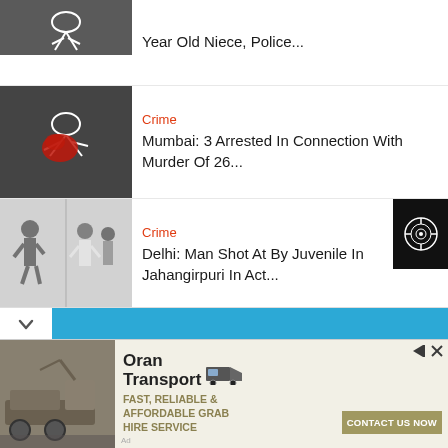[Figure (photo): Chalk outline of body on ground - partial view at top]
Year Old Niece, Police...
[Figure (photo): Chalk outline of body with red blood on dark ground]
Crime
Mumbai: 3 Arrested In Connection With Murder Of 26...
[Figure (photo): CCTV footage of fight scene with multiple people]
Crime
Delhi: Man Shot At By Juvenile In Jahangirpuri In Act...
[Figure (photo): Hand pressed against glass or dark surface]
Crime
Delhi: 16-Year-Old Gang-Raped Inside Car, Three...
[Figure (photo): Partial image - dark tones, partially cut off]
Crime
[Figure (photo): Advertisement - Oran Transport grab hire service]
Oran Transport
FAST, RELIABLE & AFFORDABLE GRAB HIRE SERVICE
CONTACT US NOW